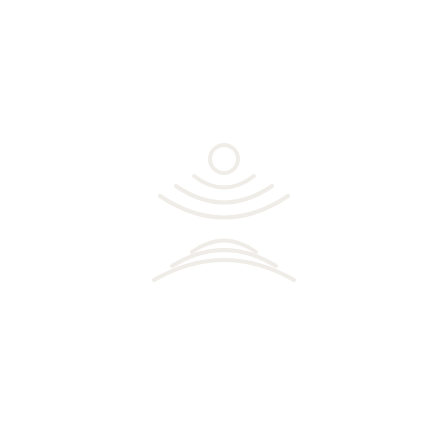[Figure (logo): A faint white/off-white logo centered on a white background. The logo depicts a stylized person/user icon with concentric arc shapes forming the head (circle with rings) at top and concentric arch shapes forming a body/base at bottom, creating a symmetrical emblem. The logo is very light, nearly invisible against the white background.]